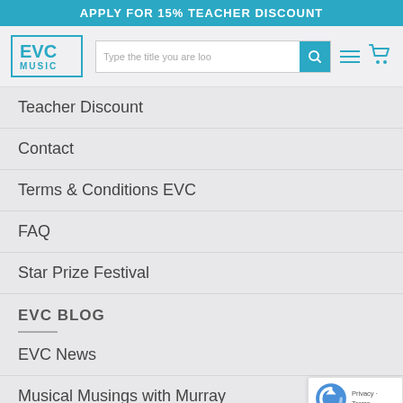APPLY FOR 15% TEACHER DISCOUNT
[Figure (logo): EVC MUSIC logo with teal border, search bar, hamburger menu icon, and cart icon]
Teacher Discount
Contact
Terms & Conditions EVC
FAQ
Star Prize Festival
EVC BLOG
EVC News
Musical Musings with Murray